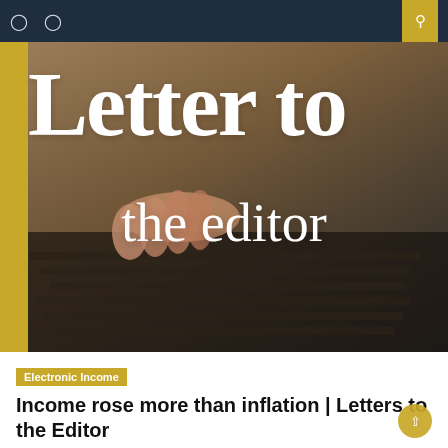Navigation bar with menu icons and search
[Figure (photo): Close-up photo of hands typing on a keyboard with large white serif text overlay reading 'Letter to the editor'. Gold accent bar on left edge.]
Electronic Income
Income rose more than inflation | Letters to the Editor
April 2, 2022   John S. Webb
It was the construction of the XL pipeline that was stopped, not its operation. Only 90 miles of it were built. The rest